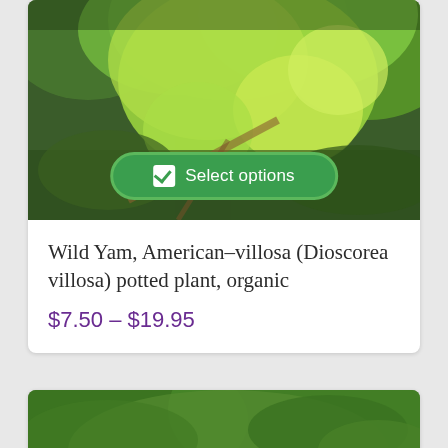[Figure (photo): Photo of Wild Yam plant with green heart-shaped leaves and vines in a natural woodland setting, with a green 'Select options' button overlay at the bottom center]
Wild Yam, American–villosa (Dioscorea villosa) potted plant, organic
$7.50 – $19.95
[Figure (photo): Partial photo of a plant with green foliage and red berries/fruits visible at the bottom, partially cropped]